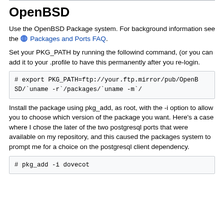OpenBSD
Use the OpenBSD Package system. For background information see the 🌐 Packages and Ports FAQ.
Set your PKG_PATH by running the followind command, (or you can add it to your .profile to have this permanently after you re-login.
# export PKG_PATH=ftp://your.ftp.mirror/pub/OpenBSD/`uname -r`/packages/`uname -m`/
Install the package using pkg_add, as root, with the -i option to allow you to choose which version of the package you want. Here's a case where I chose the later of the two postgresql ports that were available on my repository, and this caused the packages system to prompt me for a choice on the postgresql client dependency.
# pkg_add -i dovecot